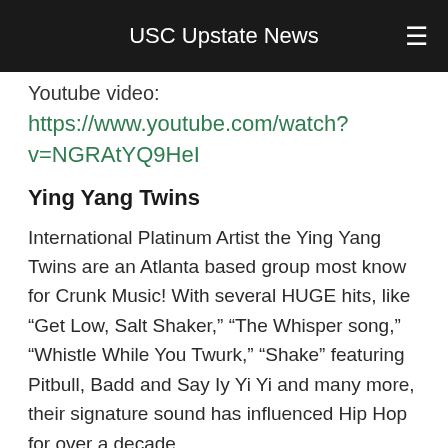USC Upstate News
Youtube video:
https://www.youtube.com/watch?v=NGRAtYQ9HeI
Ying Yang Twins
International Platinum Artist the Ying Yang Twins are an Atlanta based group most know for Crunk Music! With several HUGE hits, like “Get Low, Salt Shaker,” “The Whisper song,” “Whistle While You Twurk,” “Shake” featuring Pitbull, Badd and Say Iy Yi Yi and many more, their signature sound has influenced Hip Hop for over a decade.